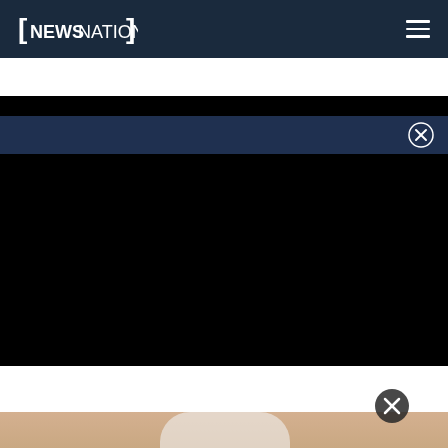[Figure (screenshot): NewsNation website navigation header bar with logo on the left and hamburger menu icon on the right, dark navy blue background]
[Figure (screenshot): Dark navy sub-bar with a circled X close button on the right side]
[Figure (screenshot): Video player area showing a completely black/dark video frame]
[Figure (screenshot): Video player controls bar with play button and mute/unmute icon on the left and fullscreen icon on the right, dark navy background]
[Figure (photo): Partial photo of a hand holding a white smart home device (possibly a Google Nest or similar camera/speaker), visible at the bottom of the page]